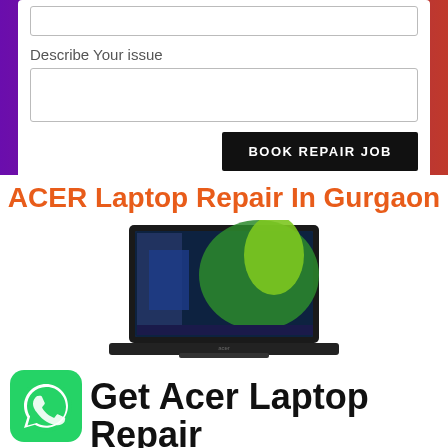[Figure (screenshot): Web form section with a text input box, a 'Describe Your issue' label, a textarea, and a 'BOOK REPAIR JOB' button, on a purple-to-red gradient background]
ACER Laptop Repair In Gurgaon
[Figure (photo): Black Acer laptop showing Windows 10 desktop with colorful wallpaper featuring a green splash design]
[Figure (logo): WhatsApp green circular icon]
Get Acer Laptop Repair